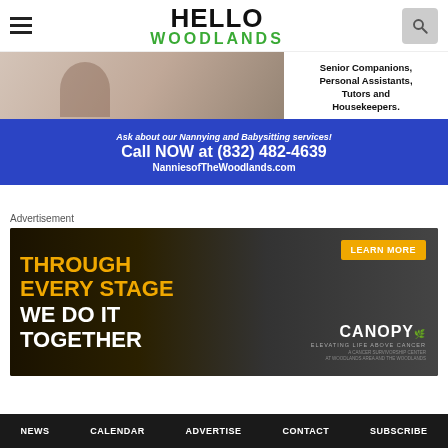HELLO WOODLANDS
[Figure (photo): Photo of people sitting on floor, and an advertisement for Nannies of The Woodlands. Text reads: Senior Companions, Personal Assistants, Tutors and Housekeepers. Ask about our Nannying and Babysitting services! Call NOW at (832) 482-4639 NanniesofTheWoodlands.com]
Advertisement
[Figure (photo): Canopy cancer survivorship center advertisement. Text reads: THROUGH EVERY STAGE WE DO IT TOGETHER. LEARN MORE. CANOPY. Elevating Life Above Cancer. A cancer survivorship center at Woodlands Area and the Woodlands.]
NEWS  CALENDAR  ADVERTISE  CONTACT  SUBSCRIBE